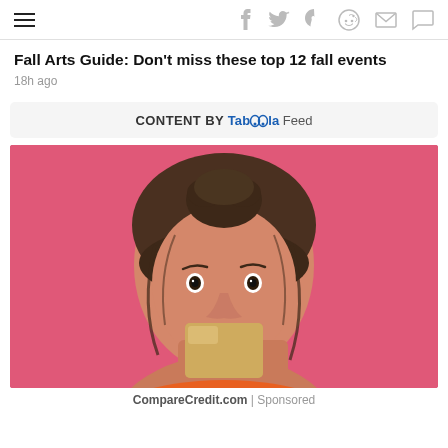hamburger menu + social icons (f, twitter, pinterest, reddit, mail, chat)
Fall Arts Guide: Don't miss these top 12 fall events
18h ago
CONTENT BY Taboola Feed
[Figure (photo): Young woman with brown hair in updo holding a gold/tan card in front of a pink background, wearing an orange top, looking at camera with a slight smile.]
CompareCredit.com | Sponsored